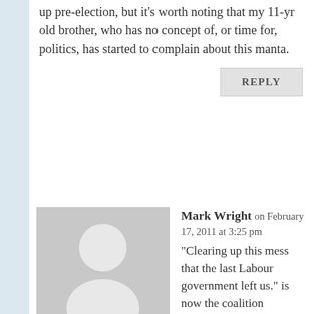up pre-election, but it's worth noting that my 11-yr old brother, who has no concept of, or time for, politics, has started to complain about this manta.
REPLY
[Figure (illustration): Generic grey avatar/silhouette placeholder image for a commenter]
Mark Wright on February 17, 2011 at 3:25 pm
“Clearing up this mess that the last Labour government left us.” is now the coalition soundbite equivalent of Gordon Brown’s “Gettng on with the job.” Repeated so often as to